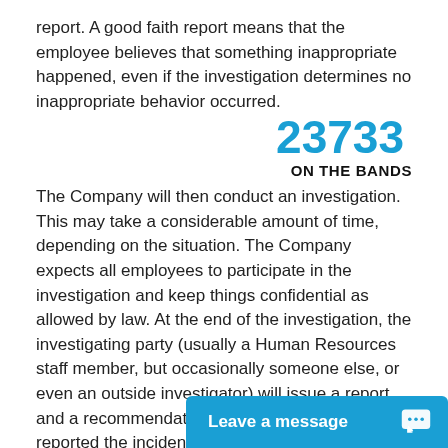report. A good faith report means that the employee believes that something inappropriate happened, even if the investigation determines no inappropriate behavior occurred.
23733
ON THE BANDS
The Company will then conduct an investigation. This may take a considerable amount of time, depending on the situation. The Company expects all employees to participate in the investigation and keep things confidential as allowed by law. At the end of the investigation, the investigating party (usually a Human Resources staff member, but occasionally someone else, or even an outside investigator) will issue a report and a recommendation. The employee who reported the incident will be informed that the investigation is finished.